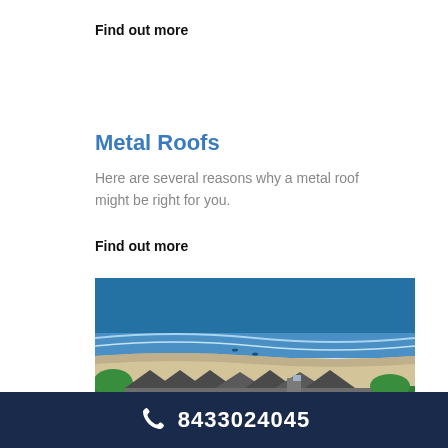Find out more
Metal Roofs
Here are several reasons why a metal roof might be right for you.
Find out more
[Figure (photo): Aerial view of beach with ocean waves and buildings with metal/tiled roofs in the foreground, surrounded by palm trees]
8433024045